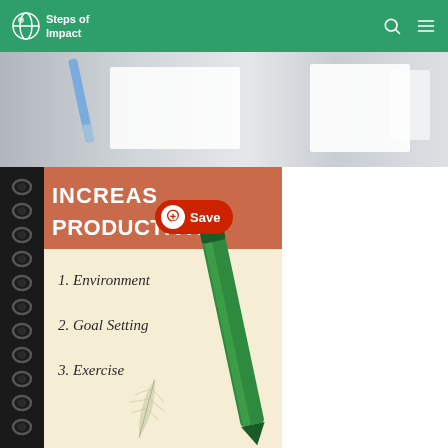Steps of Impact
[Figure (photo): Website header navigation bar with Steps of Impact logo (green background), search icon, and hamburger menu icon]
[Figure (photo): Top image strip showing paint brushes and white boxes on a light background]
[Figure (infographic): Notebook-style infographic titled INCREASE PRODUCTIVITY listing: 1. Environment, 2. Goal Setting, 3. Exercise, with a green pen overlay and Pinterest Save button]
INCREASE PRODUCTIVITY - 1. Environment 2. Goal Setting 3. Exercise